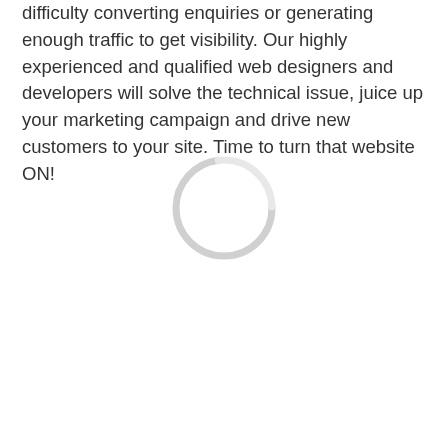difficulty converting enquiries or generating enough traffic to get visibility. Our highly experienced and qualified web designers and developers will solve the technical issue, juice up your marketing campaign and drive new customers to your site. Time to turn that website ON!
[Figure (other): A circular loading spinner graphic with a light gray ring, partially faded, on a white background.]